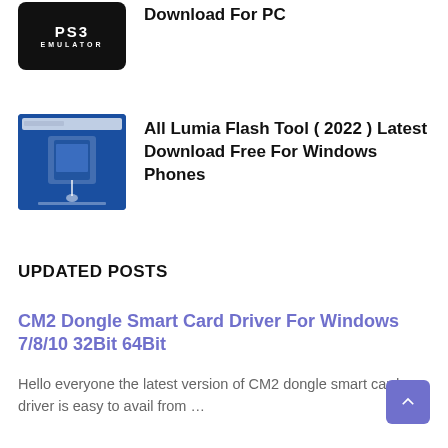[Figure (screenshot): PS3 Emulator logo — black rounded rectangle with white PS3 EMULATOR text]
Download For PC
[Figure (screenshot): All Lumia Flash Tool screenshot showing blue background with a phone/tablet device]
All Lumia Flash Tool ( 2022 ) Latest Download Free For Windows Phones
UPDATED POSTS
CM2 Dongle Smart Card Driver For Windows 7/8/10 32Bit 64Bit
Hello everyone the latest version of CM2 dongle smart card driver is easy to avail from …
[Figure (illustration): Large black semicircle at the bottom of the page]
[Figure (other): Back to top button — purple rounded square with upward chevron arrow]